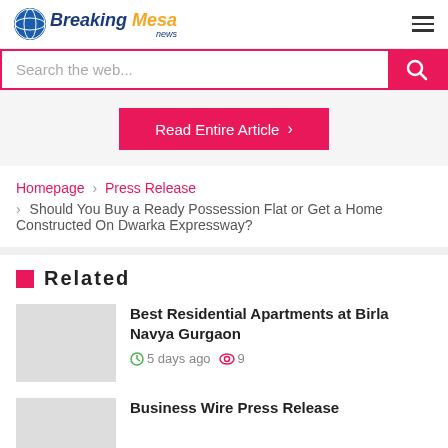Breaking Mesa news
Search the web...
Read Entire Article >
Homepage › Press Release › Should You Buy a Ready Possession Flat or Get a Home Constructed On Dwarka Expressway?
Related
Best Residential Apartments at Birla Navya Gurgaon
5 days ago 9
Business Wire Press Release